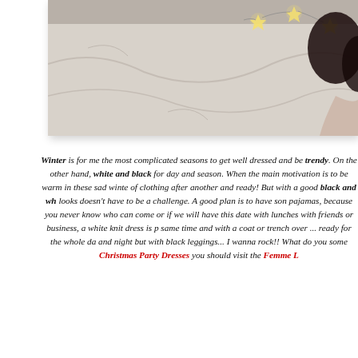[Figure (photo): A woman lying on a bed with white sheets, surrounded by star-shaped fairy lights, shot from above. The image is partially cropped.]
Winter is for me the most complicated seasons to get well dressed and be trendy. On the other hand, white and black for day and season. When the main motivation is to be warm in these sad winte of clothing after another and ready! But with a good black and wh looks doesn't have to be a challenge. A good plan is to have son pajamas, because you never know who can come or if we will have this date with lunches with friends or business, a white knit dress is p same time and with a coat or trench over ... ready for the whole da and night but with black leggings... I wanna rock!! What do you some Christmas Party Dresses you should visit the Femme L